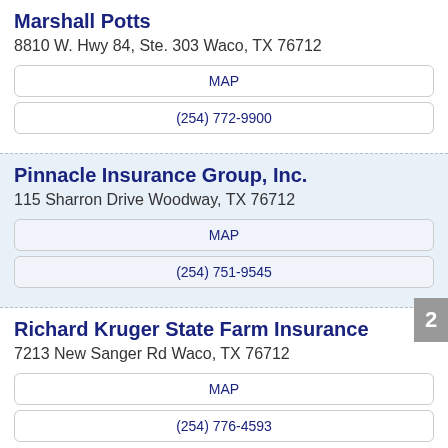Marshall Potts
8810 W. Hwy 84, Ste. 303 Waco, TX 76712
MAP
(254) 772-9900
Pinnacle Insurance Group, Inc.
115 Sharron Drive Woodway, TX 76712
MAP
(254) 751-9545
Richard Kruger State Farm Insurance
7213 New Sanger Rd Waco, TX 76712
MAP
(254) 776-4593